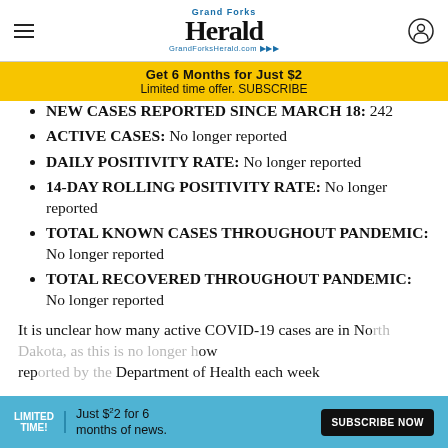Grand Forks Herald - GrandForksHerald.com
Get 6 Months for Just $2
Limited time offer. SUBSCRIBE
NEW CASES REPORTED SINCE MARCH 18: 242
ACTIVE CASES: No longer reported
DAILY POSITIVITY RATE: No longer reported
14-DAY ROLLING POSITIVITY RATE: No longer reported
TOTAL KNOWN CASES THROUGHOUT PANDEMIC: No longer reported
TOTAL RECOVERED THROUGHOUT PANDEMIC: No longer reported
It is unclear how many active COVID-19 cases are in No... ow reported by the Department of Health each week
LIMITED TIME! Just $2 for 6 months of news. SUBSCRIBE NOW